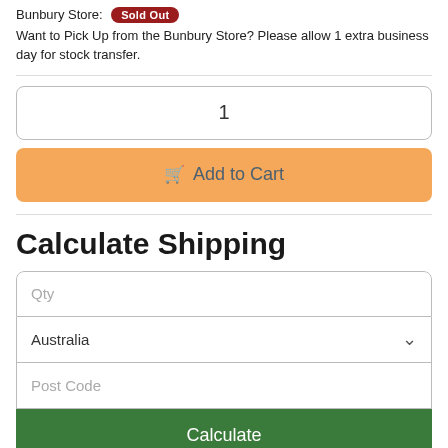Bunbury Store: [Sold Out] Want to Pick Up from the Bunbury Store? Please allow 1 extra business day for stock transfer.
1
Add to Cart
Calculate Shipping
Qty
Australia
Post Code
Calculate